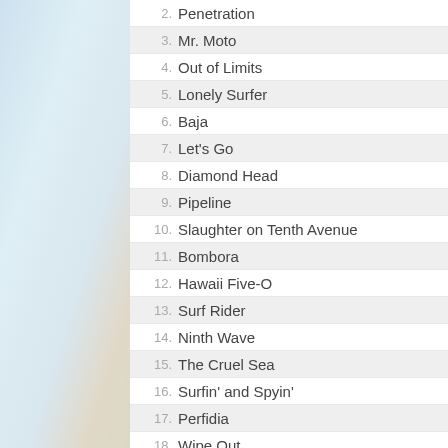2. Penetration
3. Mr. Moto
4. Out of Limits
5. Lonely Surfer
6. Baja
7. Let's Go
8. Diamond Head
9. Pipeline
10. Slaughter on Tenth Avenue
11. Bombora
12. Hawaii Five-O
13. Surf Rider
14. Ninth Wave
15. The Cruel Sea
16. Surfin' and Spyin'
17. Perfidia
18. Wipe Out